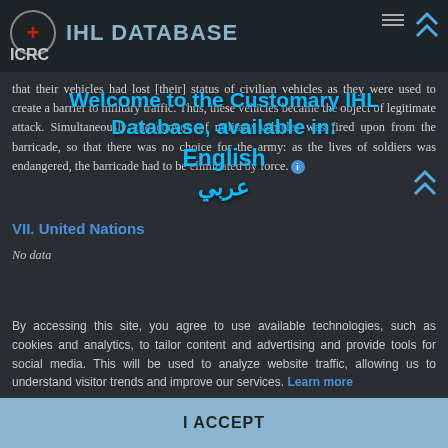IHL DATABASE — ICRC
that their vehicles had lost [their] status of civilian vehicles as they were used to create a barrier to military traffic. Thus, these vehicles became the object of legitimate attack. Simultaneously, the convoy of military vehicles was fired upon from the barricade, so that there was no choice for the army: as the lives of soldiers was endangered, the barricade had to be eliminated by force.
[Figure (other): Welcome to the Customary IHL Database, available in: English / عربي — language selection overlay]
VII. United Nations
No data
By accessing this site, you agree to use available technologies, such as cookies and analytics, to tailor content and advertising and provide tools for social media. This will be used to analyze website traffic, allowing us to understand visitor trends and improve our services. Learn more
I ACCEPT